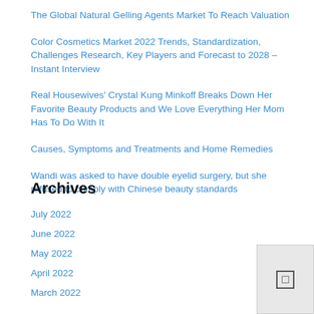The Global Natural Gelling Agents Market To Reach Valuation
Color Cosmetics Market 2022 Trends, Standardization, Challenges Research, Key Players and Forecast to 2028 – Instant Interview
Real Housewives' Crystal Kung Minkoff Breaks Down Her Favorite Beauty Products and We Love Everything Her Mom Has To Do With It
Causes, Symptoms and Treatments and Home Remedies
Wandi was asked to have double eyelid surgery, but she refused to comply with Chinese beauty standards
Archives
July 2022
June 2022
May 2022
April 2022
March 2022